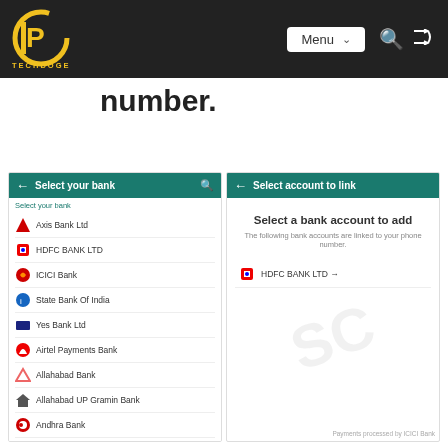TECHDOGE — Menu navigation bar with logo, Menu dropdown, search and shuffle icons
number.
[Figure (screenshot): Two side-by-side mobile app screenshots. Left: 'Select your bank' screen with teal header and a list of banks: Axis Bank Ltd, HDFC BANK LTD, ICICI Bank, State Bank Of India, Yes Bank Ltd, Airtel Payments Bank, Allahabad Bank, Allahabad UP Gramin Bank, Andhra Bank, Andhra Pradesh Grameena Vikas Bank. Right: 'Select account to link' screen with teal header, showing 'Select a bank account to add' with subtitle 'The following bank accounts are linked to your phone number.' and one entry: HDFC BANK LTD with an arrow. Footer: 'Payments processed by ICICI Bank'.]